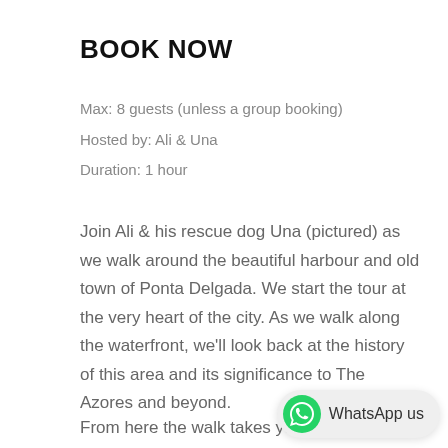BOOK NOW
Max: 8 guests (unless a group booking)
Hosted by: Ali & Una
Duration: 1 hour
Join Ali & his rescue dog Una (pictured) as we walk around the beautiful harbour and old town of Ponta Delgada. We start the tour at the very heart of the city. As we walk along the waterfront, we'll look back at the history of this area and its significance to The Azores and beyond.
From here the walk takes you through the city centre, I will point out landmarks, leading restaurants and bars which you
[Figure (logo): WhatsApp button with green WhatsApp icon and text 'WhatsApp us' on a light grey rounded pill background]